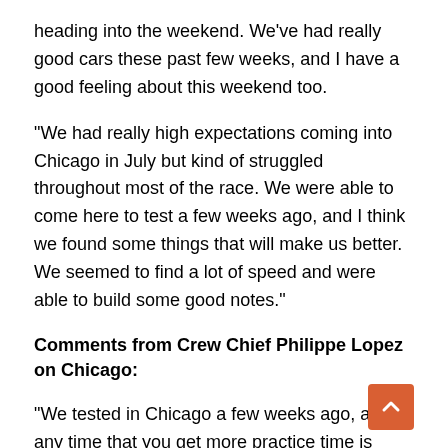heading into the weekend. We've had really good cars these past few weeks, and I have a good feeling about this weekend too.
"We had really high expectations coming into Chicago in July but kind of struggled throughout most of the race. We were able to come here to test a few weeks ago, and I think we found some things that will make us better. We seemed to find a lot of speed and were able to build some good notes."
Comments from Crew Chief Philippe Lopez on Chicago:
"We tested in Chicago a few weeks ago, and any time that you get more practice time is good. It's just more at bats, and it just makes you better. Usually, you go into a race weekend and get two hours to practice, and we got a good 16 hours in so I feel like we're ready for this weekend. We found a few things Michael really seemed to like and respond to, and we got good speed out of it. There were other Nationwide cars at the test, and we were really